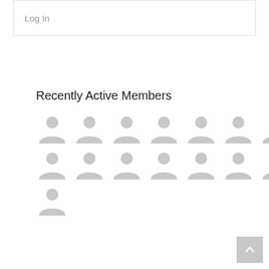Log In
Recently Active Members
[Figure (infographic): Grid of 15 generic grey user avatar icons arranged in 3 rows of 7, 7, and 1]
[Figure (other): Scroll-to-top button with upward chevron arrow, grey background, bottom-right corner]